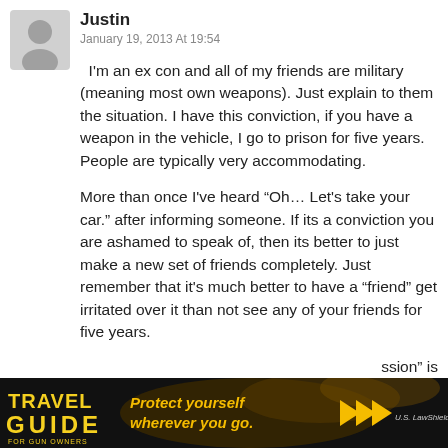[Figure (illustration): Grey silhouette avatar icon of a person, placeholder user image]
Justin
January 19, 2013 At 19:54
I'm an ex con and all of my friends are military (meaning most own weapons). Just explain to them the situation. I have this conviction, if you have a weapon in the vehicle, I go to prison for five years. People are typically very accommodating.

More than once I've heard “Oh… Let's take your car.” after informing someone. If its a conviction you are ashamed to speak of, then its better to just make a new set of friends completely. Just remember that it's much better to have a “friend” get irritated over it than not see any of your friends for five years.
[Figure (infographic): Travel Guide for Gun Owners advertisement banner with text 'Protect yourself wherever you go.' and orange arrow play buttons, dark background with light streaks]